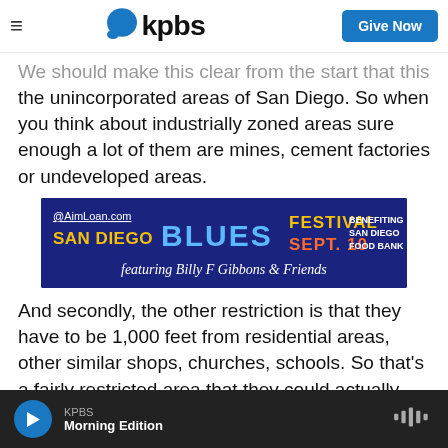kpbs | Give Now
We should make this clear from the start that this is the unincorporated areas of San Diego. So when you think about industrially zoned areas sure enough a lot of them are mines, cement factories or undeveloped areas.
[Figure (infographic): AimLoan.com San Diego BLUES FESTIVAL SEPT. 10 featuring Billy F Gibbons & Friends. Benefiting San Diego Food Bank.]
And secondly, the other restriction is that they have to be 1,000 feet from residential areas, other similar shops, churches, schools. So that's a fairly restricted area that they could actually exist.
KPBS Morning Edition